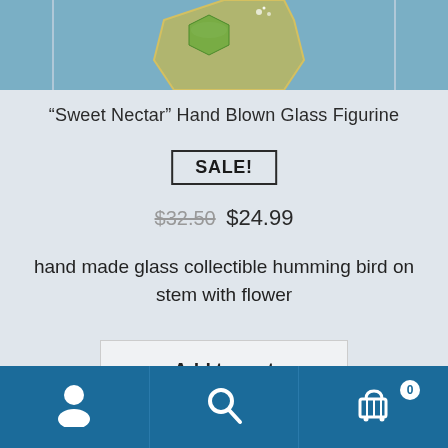[Figure (photo): Partial top view of a hand blown glass figurine (hummingbird on stem with flower) against a blue background, cropped at the top of the page.]
“Sweet Nectar” Hand Blown Glass Figurine
SALE!
$32.50  $24.99
hand made glass collectible humming bird on stem with flower
Add to cart
User icon | Search icon | Cart icon (0)